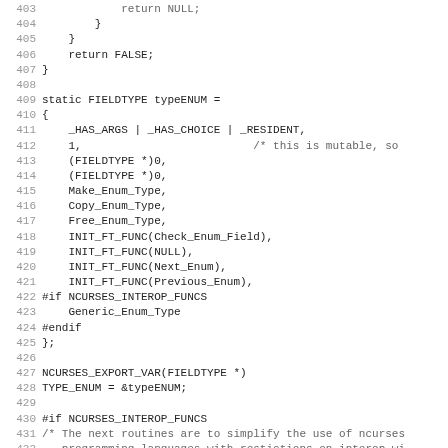[Figure (screenshot): Source code listing showing C code lines 403–435, including a static FIELDTYPE struct initialization, preprocessor directives, and export macros for ncurses enum field type.]